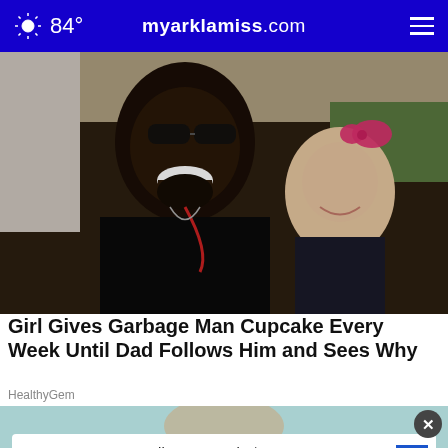84° myarklamiss.com
[Figure (photo): A smiling man wearing sunglasses and a dark jacket posing with a smiling young girl wearing a pink bow in her hair, outdoors.]
Girl Gives Garbage Man Cupcake Every Week Until Dad Follows Him and Sees Why
HealthyGem
[Figure (photo): Partial view of a woman, with an advertisement overlay for Toppik.]
Get Toppik - Now Only $24.99 + Free Shipping. Order Now.